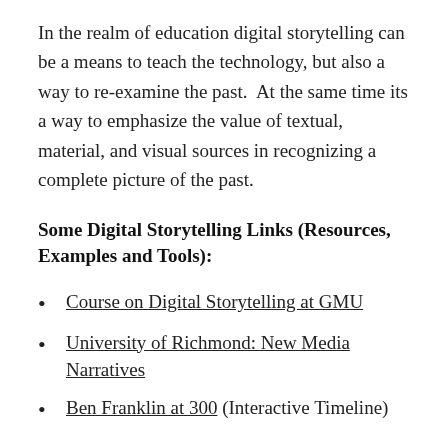In the realm of education digital storytelling can be a means to teach the technology, but also a way to re-examine the past.  At the same time its a way to emphasize the value of textual, material, and visual sources in recognizing a complete picture of the past.
Some Digital Storytelling Links (Resources, Examples and Tools):
Course on Digital Storytelling at GMU
University of Richmond: New Media Narratives
Ben Franklin at 300 (Interactive Timeline)